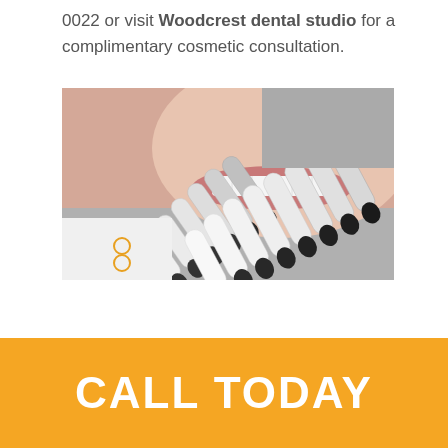0022 or visit Woodcrest dental studio for a complimentary cosmetic consultation.
[Figure (photo): Close-up photo of a person smiling with white teeth, alongside dental shade/color matching guide strips arranged in a fan-like pattern showing various shades from white to dark.]
CALL TODAY